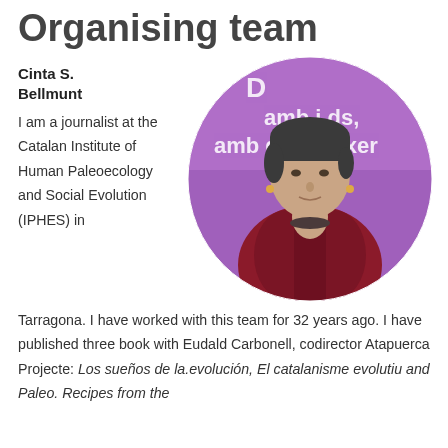Organising team
Cinta S. Bellmunt
[Figure (photo): Circular portrait photo of Cinta S. Bellmunt, a woman with short dark hair wearing a dark red/burgundy jacket, standing in front of a purple banner with white text partially visible: 'amb i...ds, amb gar...créixer i fe...']
I am a journalist at the Catalan Institute of Human Paleoecology and Social Evolution (IPHES) in Tarragona. I have worked with this team for 32 years ago. I have published three book with Eudald Carbonell, codirector Atapuerca Projecte: Los sueños de la.evolución, El catalanisme evolutiu and Paleo. Recipes from the